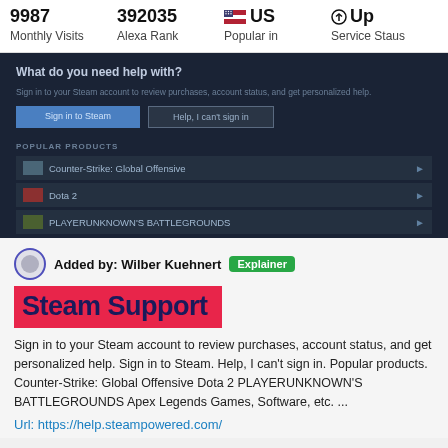| Monthly Visits | Alexa Rank | Popular in | Service Staus |
| --- | --- | --- | --- |
| 9987 | 392035 | US | Up |
[Figure (screenshot): Screenshot of Steam Support help page showing 'What do you need help with?' with sign-in buttons and popular products list including Counter-Strike: Global Offensive, Dota 2, and PLAYERUNKNOWN'S BATTLEGROUNDS]
Added by: Wilber Kuehnert  Explainer
Steam Support
Sign in to your Steam account to review purchases, account status, and get personalized help. Sign in to Steam. Help, I can't sign in. Popular products. Counter-Strike: Global Offensive Dota 2 PLAYERUNKNOWN'S BATTLEGROUNDS Apex Legends Games, Software, etc. ...
Url: https://help.steampowered.com/